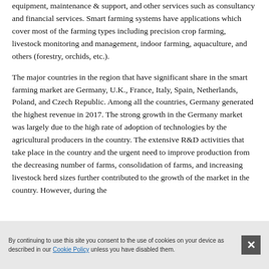equipment, maintenance & support, and other services such as consultancy and financial services. Smart farming systems have applications which cover most of the farming types including precision crop farming, livestock monitoring and management, indoor farming, aquaculture, and others (forestry, orchids, etc.).
The major countries in the region that have significant share in the smart farming market are Germany, U.K., France, Italy, Spain, Netherlands, Poland, and Czech Republic. Among all the countries, Germany generated the highest revenue in 2017. The strong growth in the Germany market was largely due to the high rate of adoption of technologies by the agricultural producers in the country. The extensive R&D activities that take place in the country and the urgent need to improve production from the decreasing number of farms, consolidation of farms, and increasing livestock herd sizes further contributed to the growth of the market in the country. However, during the
By continuing to use this site you consent to the use of cookies on your device as described in our Cookie Policy unless you have disabled them.